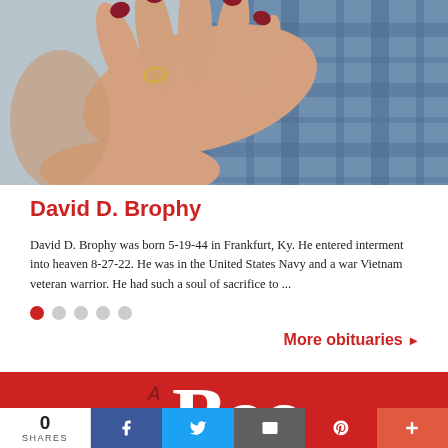[Figure (photo): Close-up photo of hands, one with red fingernails and a ring, resting on a blue plaid shirt fabric.]
David D. Brophy
David D. Brophy was born 5-19-44 in Frankfurt, Ky. He entered interment into heaven 8-27-22. He was in the United States Navy and a war Vietnam veteran warrior. He had such a soul of sacrifice to ...
More obituaries ▶
[Figure (logo): The Bee newspaper logo on red background showing large white letters 'Boo' and dark styled 'E' letterforms.]
0 SHARES